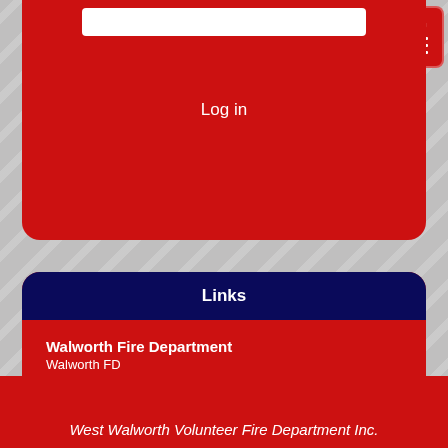Log in
Links
Walworth Fire Department
Walworth FD
Wayne County
Official County website
Churchville Fire Equipment
West Walworth Volunteer Fire Department Inc.